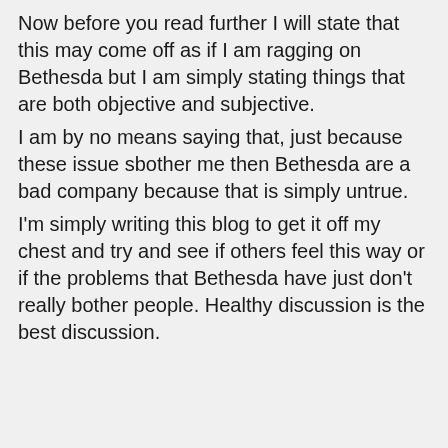Now before you read further I will state that this may come off as if I am ragging on Bethesda but I am simply stating things that are both objective and subjective.
I am by no means saying that, just because these issue sbother me then Bethesda are a bad company because that is simply untrue.
I'm simply writing this blog to get it off my chest and try and see if others feel this way or if the problems that Bethesda have just don't really bother people. Healthy discussion is the best discussion.